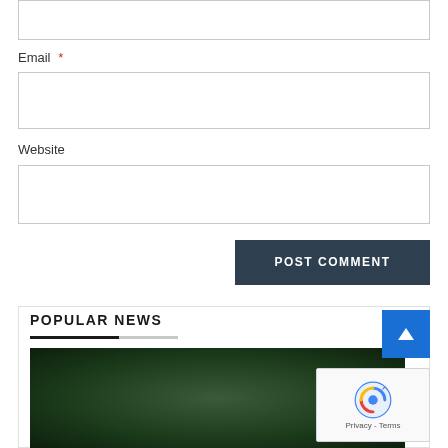Email *
Website
POST COMMENT
POPULAR NEWS
[Figure (photo): Dark green atmospheric photo, partially visible at bottom of page]
[Figure (other): reCAPTCHA widget with Privacy - Terms text]